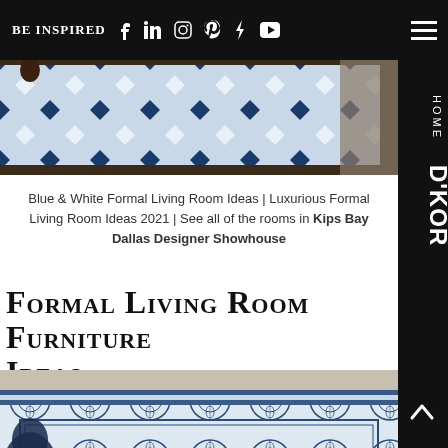BE INSPIRED
[Figure (photo): Top portion of a blue and white geometric patterned rug on a wooden floor]
Blue & White Formal Living Room Ideas | Luxurious Formal Living Room Ideas 2021 | See all of the rooms in Kips Bay Dallas Designer Showhouse
Formal Living Room Furniture Ideas
[Figure (photo): Close-up of an ornate blue and white floral patterned rug or ceramic tile surface]